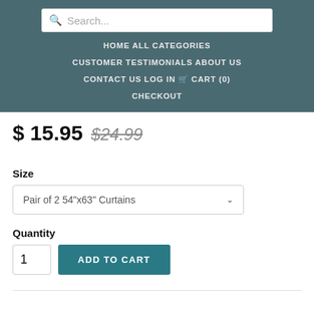Search... HOME  ALL CATEGORIES  CUSTOMER TESTIMONIALS  ABOUT US  CONTACT US  LOG IN  CART (0)  CHECKOUT
$ 15.95  $24.99
Size
Pair of 2 54"x63" Curtains
Quantity
1  ADD TO CART